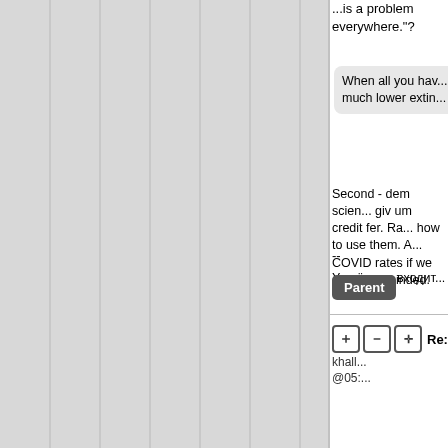...is a problem everywhere."?
When all you hav... much lower extin...
Second - dem scien... giv um credit fer. Ra... how to use them. A... COVID rates if we d... weak minded.
Sorry, this is hyst...
Sorry, but this isn't... continues to be re-c... studies the situation... decades now. A lot... ago.
--
Україна не входит...
Parent
Re:Y...
khall...
@05:...